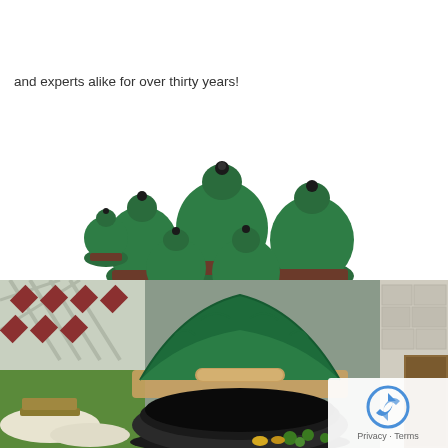and experts alike for over thirty years!
[Figure (photo): Group of green Big Green Egg ceramic grills/smokers in various sizes arranged together on white background]
[Figure (photo): Close-up photo of an open Big Green Egg ceramic grill with wooden handle, outdoors with vegetables on the side]
Privacy · Terms